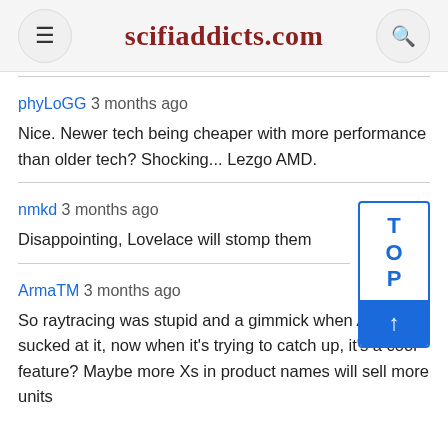scifiaddicts.com
phyLoGG 3 months ago
Nice. Newer tech being cheaper with more performance than older tech? Shocking... Lezgo AMD.
nmkd 3 months ago
Disappointing, Lovelace will stomp them
ArmaTM 3 months ago
So raytracing was stupid and a gimmick when AM sucked at it, now when it's trying to catch up, it's a cool feature? Maybe more Xs in product names will sell more units